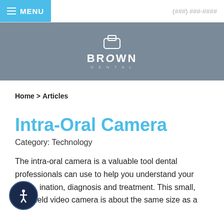MENU
[Figure (logo): Brown Dental logo with tooth icon on grey background]
Home > Articles
Intra-Oral Camera
Category: Technology
The intra-oral camera is a valuable tool dental professionals can use to help you understand your examination, diagnosis and treatment. This small, handheld video camera is about the same size as a